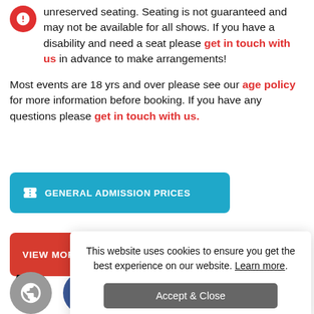unreserved seating. Seating is not guaranteed and may not be available for all shows. If you have a disability and need a seat please get in touch with us in advance to make arrangements!
Most events are 18 yrs and over please see our age policy for more information before booking. If you have any questions please get in touch with us.
[Figure (other): Blue rounded button with ticket icon and text GENERAL ADMISSION PRICES]
[Figure (other): Red rounded button with text VIEW MORE EVENTS HERE]
AD
This website uses cookies to ensure you get the best experience on our website. Learn more. Accept & Close